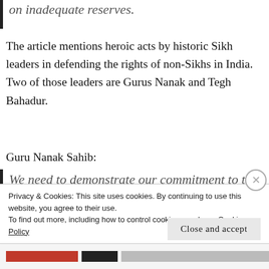on inadequate reserves.
The article mentions heroic acts by historic Sikh leaders in defending the rights of non-Sikhs in India. Two of those leaders are Gurus Nanak and Tegh Bahadur.
Guru Nanak Sahib:
We need to demonstrate our commitment to the revolutionary message of Guru Nanak Sahib, that every human being contains equally an
Privacy & Cookies: This site uses cookies. By continuing to use this website, you agree to their use.
To find out more, including how to control cookies, see here: Cookie Policy
Close and accept